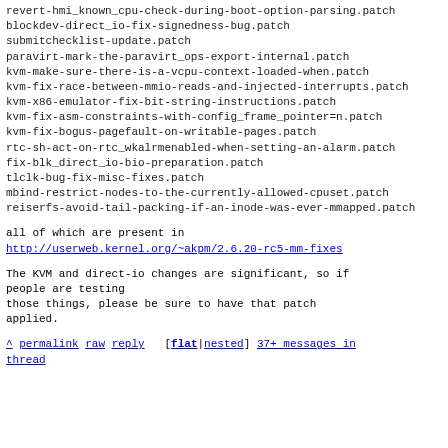revert-hmi_known_cpu-check-during-boot-option-parsing.patch
blockdev-direct_io-fix-signedness-bug.patch
submitchecklist-update.patch
paravirt-mark-the-paravirt_ops-export-internal.patch
kvm-make-sure-there-is-a-vcpu-context-loaded-when.patch
kvm-fix-race-between-mmio-reads-and-injected-interrupts.patch
kvm-x86-emulator-fix-bit-string-instructions.patch
kvm-fix-asm-constraints-with-config_frame_pointer=n.patch
kvm-fix-bogus-pagefault-on-writable-pages.patch
rtc-sh-act-on-rtc_wkalrmenabled-when-setting-an-alarm.patch
fix-blk_direct_io-bio-preparation.patch
tlclk-bug-fix-misc-fixes.patch
mbind-restrict-nodes-to-the-currently-allowed-cpuset.patch
reiserfs-avoid-tail-packing-if-an-inode-was-ever-mmapped.patch
all of which are present in
http://userweb.kernel.org/~akpm/2.6.20-rc5-mm-fixes
The KVM and direct-io changes are significant, so if people are testing
those things, please be sure to have that patch applied.
^ permalink raw reply   [flat|nested] 37+ messages in thread